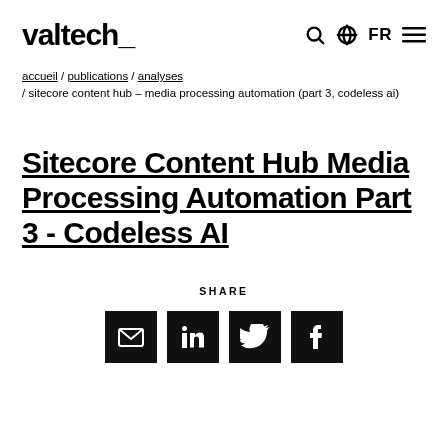valtech_ [search] [globe] FR [menu]
accueil / publications / analyses / sitecore content hub – media processing automation (part 3, codeless ai)
Sitecore Content Hub Media Processing Automation Part 3 - Codeless AI
SHARE
[Figure (infographic): Four social share icon buttons: email, LinkedIn, Twitter, Facebook]